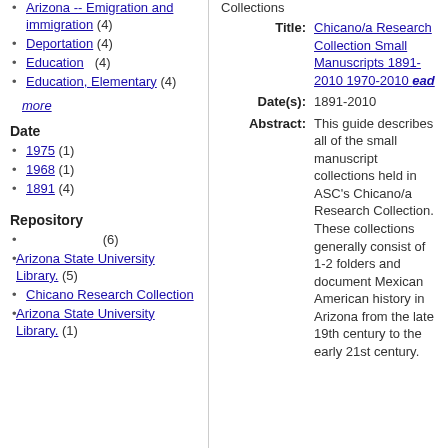Arizona -- Emigration and immigration (4)
Deportation (4)
Education (4)
Education, Elementary (4)
more
Date
1975 (1)
1968 (1)
1891 (4)
Repository
(6)
Arizona State University Library. (5)
Chicano Research Collection
Arizona State University Library. (1)
Collections
Title: Chicano/a Research Collection Small Manuscripts 1891-2010 1970-2010 ead
Date(s): 1891-2010
Abstract: This guide describes all of the small manuscript collections held in ASC's Chicano/a Research Collection. These collections generally consist of 1-2 folders and document Mexican American history in Arizona from the late 19th century to the early 21st century.